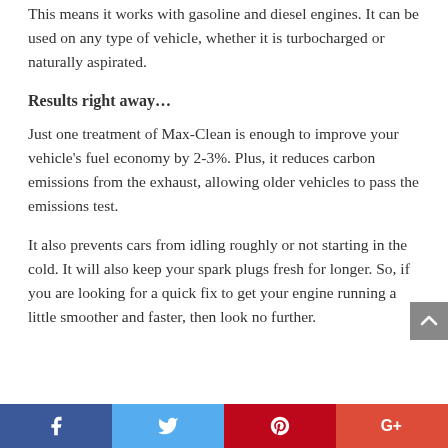This means it works with gasoline and diesel engines. It can be used on any type of vehicle, whether it is turbocharged or naturally aspirated.
Results right away…
Just one treatment of Max-Clean is enough to improve your vehicle's fuel economy by 2-3%. Plus, it reduces carbon emissions from the exhaust, allowing older vehicles to pass the emissions test.
It also prevents cars from idling roughly or not starting in the cold. It will also keep your spark plugs fresh for longer. So, if you are looking for a quick fix to get your engine running a little smoother and faster, then look no further.
[Figure (infographic): Social sharing bar with Facebook, Twitter, Pinterest, and Google+ buttons]